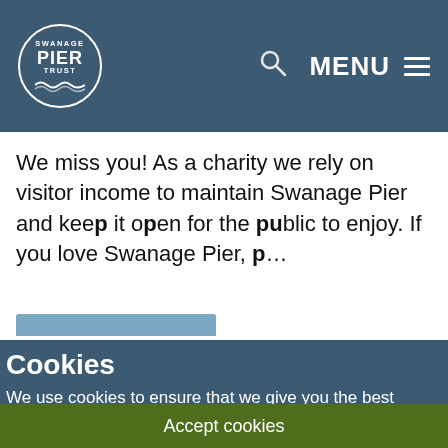Swanage Pier Trust — MENU
We miss you! As a charity we rely on visitor income to maintain Swanage Pier and keep it open for the public to enjoy. If you love Swanage Pier, p…
Cookies
We use cookies to ensure that we give you the best experience on our website.
Find out more
Accept cookies